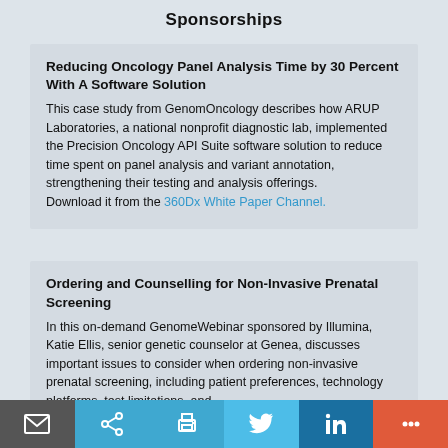Sponsorships
Reducing Oncology Panel Analysis Time by 30 Percent With A Software Solution
This case study from GenomOncology describes how ARUP Laboratories, a national nonprofit diagnostic lab, implemented the Precision Oncology API Suite software solution to reduce time spent on panel analysis and variant annotation, strengthening their testing and analysis offerings.
Download it from the 360Dx White Paper Channel.
Ordering and Counselling for Non-Invasive Prenatal Screening
In this on-demand GenomeWebinar sponsored by Illumina, Katie Ellis, senior genetic counselor at Genea, discusses important issues to consider when ordering non-invasive prenatal screening, including patient preferences, technology platforms, test limitations, and